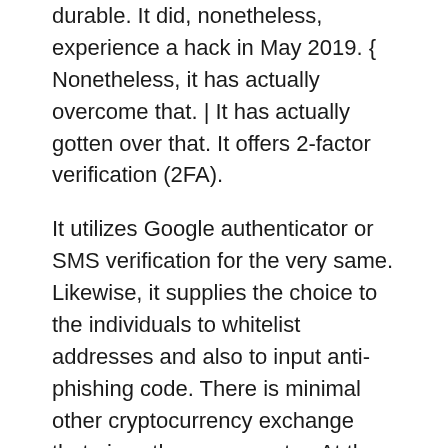durable. It did, nonetheless, experience a hack in May 2019. { Nonetheless, it has actually overcome that. | It has actually gotten over that. It offers 2-factor verification (2FA).
It utilizes Google authenticator or SMS verification for the very same. Likewise, it supplies the choice to the individuals to whitelist addresses and also to input anti-phishing code. There is minimal other cryptocurrency exchange that gives the same center. At the same time, there is an substantial Frequently Asked Question section that allows you know how to manage angling attempts as well.
At the exact same time, there is an